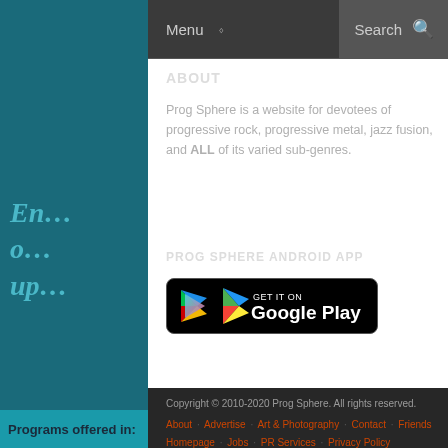Menu  Search
ABOUT
Prog Sphere is a website for devotees of progressive rock, progressive metal, jazz fusion, and ALL of its varied sub-genres.
PROG SPHERE ANDROID APP
[Figure (logo): GET IT ON Google Play badge - black rounded rectangle with Google Play triangle logo icon and text]
Copyright © 2010-2020 Prog Sphere. All rights reserved.
About  Advertise  Art & Photography  Contact  Friends  Homepage  Jobs  PR Services  Privacy Policy  Prog Sphere Showcase  Progressive Rock & Metal Compilation  Services  Sitemap  Songs